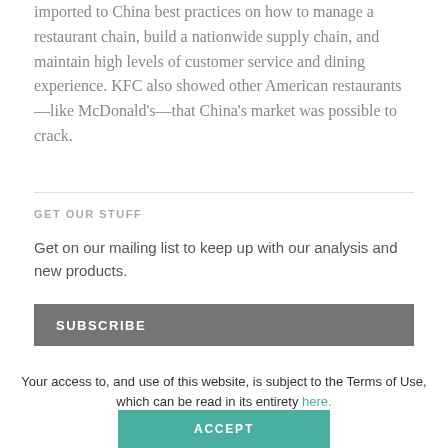imported to China best practices on how to manage a restaurant chain, build a nationwide supply chain, and maintain high levels of customer service and dining experience. KFC also showed other American restaurants—like McDonald's—that China's market was possible to crack.
GET OUR STUFF
Get on our mailing list to keep up with our analysis and new products.
SUBSCRIBE
Your access to, and use of this website, is subject to the Terms of Use, which can be read in its entirety here.
ACCEPT